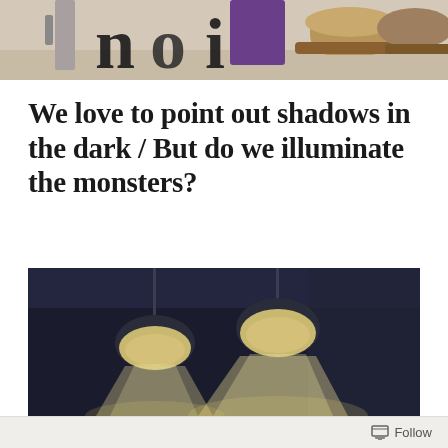[Figure (photo): Partial top image showing colorful artwork or signage with letters visible, cut off at top of page]
We love to point out shadows in the dark / But do we illuminate the monsters?
[Figure (photo): Dark photograph of hanging ceiling lights in a dark space, with glowing lamp heads casting light downward creating bright cones of illumination against a very dark background]
Follow